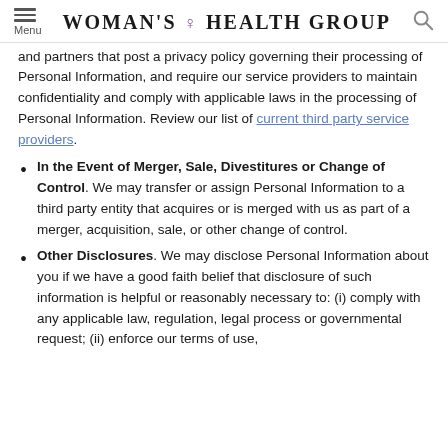Menu | WOMAN'S HEALTH GROUP | Search
and partners that post a privacy policy governing their processing of Personal Information, and require our service providers to maintain confidentiality and comply with applicable laws in the processing of Personal Information. Review our list of current third party service providers.
In the Event of Merger, Sale, Divestitures or Change of Control. We may transfer or assign Personal Information to a third party entity that acquires or is merged with us as part of a merger, acquisition, sale, or other change of control.
Other Disclosures. We may disclose Personal Information about you if we have a good faith belief that disclosure of such information is helpful or reasonably necessary to: (i) comply with any applicable law, regulation, legal process or governmental request; (ii) enforce our terms of use,